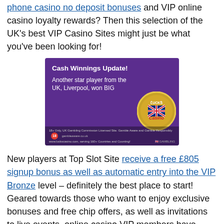phone casino no deposit bonuses and VIP online casino loyalty rewards? Then this selection of the UK’s best VIP Casino Sites might just be what you’ve been looking for!
[Figure (illustration): Purple advertisement banner for Lucks Casino. Heading: 'Cash Winnings Update!' Body text: 'Another star player from the UK, Liverpool, won BIG'. Features Lucks Casino gold badge logo with UK flag. Footer: '18+ Only, UK Gambling Commission Licensed Site. Gamble Aware and Gamble Responsibly www.luckscasino.com, serving 160+ Countries and Counting!' with 18 red badge and gambleaware logo and UK Gambling Commission logo.]
New players at Top Slot Site receive a free £805 signup bonus as well as automatic entry into the VIP Bronze level – definitely the best place to start! Geared towards those who want to enjoy exclusive bonuses and free chip offers, as well as invitations to live events, online casino VIP members have every need catered for. On becoming a VIP member, players